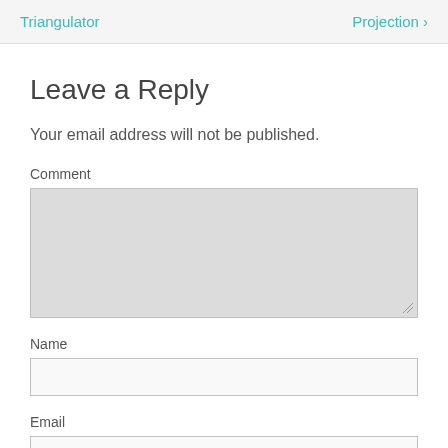Triangulator   Projection ›
Leave a Reply
Your email address will not be published.
Comment
Name
Email